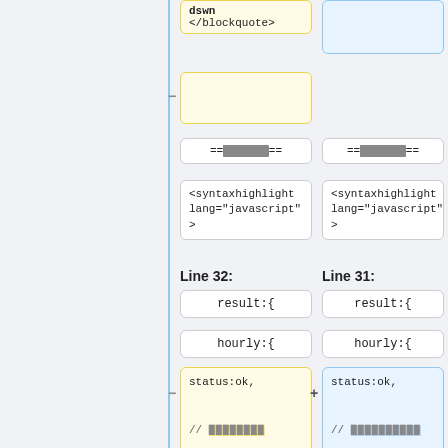[Figure (screenshot): Code diff viewer showing two columns with code blocks. Left column shows Line 32, right column shows Line 31. Both contain syntax-highlighted code snippets with blockquote, syntaxhighlight lang=javascript, result:{, hourly:{, status:ok, and redacted comment lines. Yellow highlighted boxes on left (deleted), blue highlighted boxes on right (added). Minus and plus markers indicate changes.]